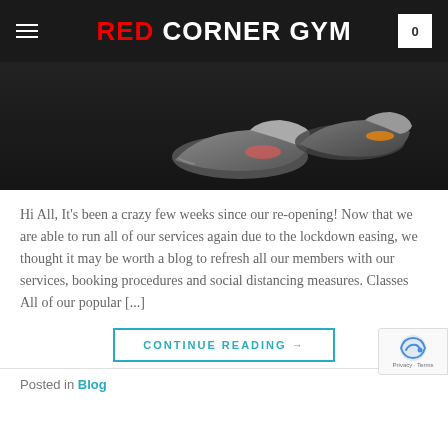RED CORNER GYM
[Figure (photo): Dark background photo showing athletic shoes/sneakers on a gym floor]
Hi All, It's been a crazy few weeks since our re-opening! Now that we are able to run all of our services again due to the lockdown easing, we thought it may be worth a blog to refresh all our members with our services, booking procedures and social distancing measures. Classes All of our popular [...]
CONTINUE READING →
Posted in Blog